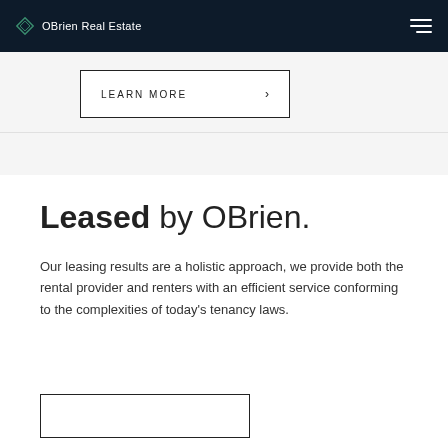OBrien Real Estate
LEARN MORE
Leased by OBrien.
Our leasing results are a holistic approach, we provide both the rental provider and renters with an efficient service conforming to the complexities of today's tenancy laws.